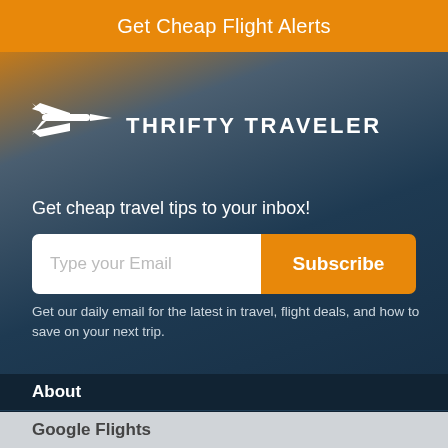Get Cheap Flight Alerts
[Figure (logo): Thrifty Traveler logo: airplane icon and text THRIFTY TRAVELER]
Get cheap travel tips to your inbox!
Type your Email
Subscribe
Get our daily email for the latest in travel, flight deals, and how to save on your next trip.
About
Contact Us
Google Flights